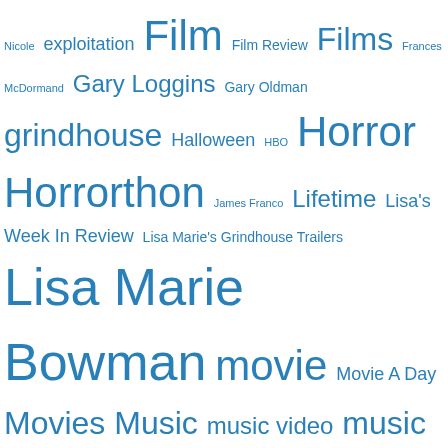[Figure (other): Tag cloud of blog/website categories and tags in blue text, with varying font sizes indicating frequency. Terms include Film, Films, Horror, Horrorthon, Lisa Marie Bowman, movie, Movies, Music, music video, music video of the day, review, Oscars, Oscar, TV Show, Through the Shattered Lens, and many more.]